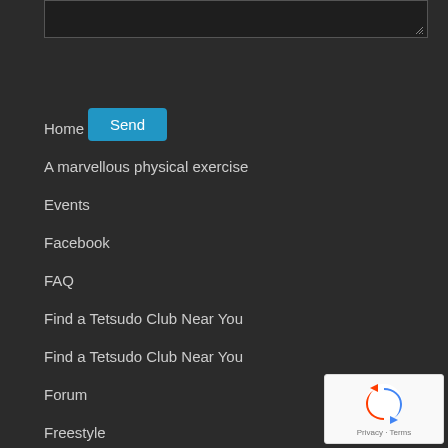[Figure (screenshot): Textarea input box with resize handle]
Send
Home
A marvellous physical exercise
Events
Facebook
FAQ
Find a Tetsudo Club Near You
Find a Tetsudo Club Near You
Forum
Freestyle
History
Inclusive
Instructor Lineage
July – Aug 2021 Student Grading Results
[Figure (logo): reCAPTCHA badge with Privacy and Terms links]